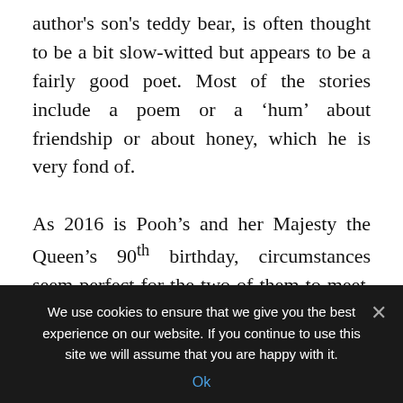author's son's teddy bear, is often thought to be a bit slow-witted but appears to be a fairly good poet. Most of the stories include a poem or a 'hum' about friendship or about honey, which he is very fond of.

As 2016 is Pooh's and her Majesty the Queen's 90th birthday, circumstances seem perfect for the two of them to meet. That's why in a recently published short story, Pooh and his friends travel to Buckingham Palace to see the Queen. An audio-visual version of the new
We use cookies to ensure that we give you the best experience on our website. If you continue to use this site we will assume that you are happy with it.
Ok